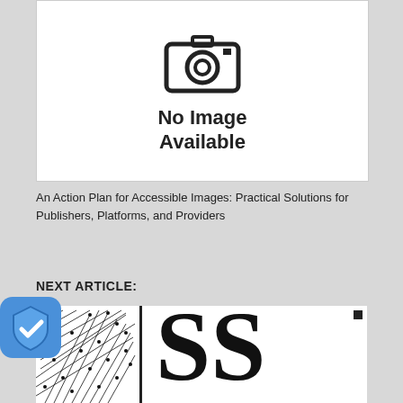[Figure (illustration): No Image Available placeholder with camera icon]
An Action Plan for Accessible Images: Practical Solutions for Publishers, Platforms, and Providers
NEXT ARTICLE:
[Figure (illustration): Next article preview showing a mesh/wireframe graphic on the left and large serif letters 'SS' on the right with a small black square]